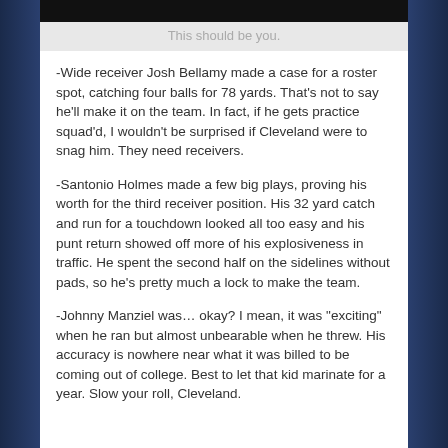[Figure (photo): Dark/black image area at the top of the page]
This should be you.
-Wide receiver Josh Bellamy made a case for a roster spot, catching four balls for 78 yards. That's not to say he'll make it on the team. In fact, if he gets practice squad'd, I wouldn't be surprised if Cleveland were to snag him. They need receivers.
-Santonio Holmes made a few big plays, proving his worth for the third receiver position. His 32 yard catch and run for a touchdown looked all too easy and his punt return showed off more of his explosiveness in traffic. He spent the second half on the sidelines without pads, so he's pretty much a lock to make the team.
-Johnny Manziel was… okay? I mean, it was "exciting" when he ran but almost unbearable when he threw. His accuracy is nowhere near what it was billed to be coming out of college. Best to let that kid marinate for a year. Slow your roll, Cleveland.